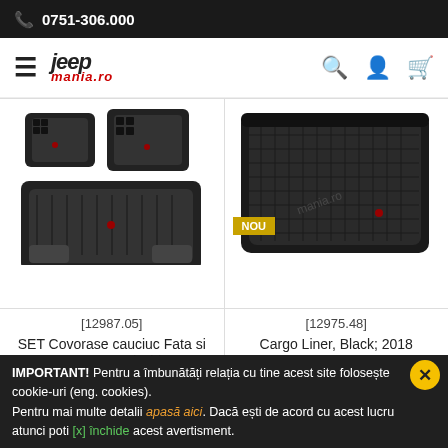0751-306.000
[Figure (logo): Jeepmania.ro logo with hamburger menu, search, account and cart icons]
[Figure (photo): SET Covorase cauciuc Fata si Spate Rugged Ridge - set of black rubber car floor mats]
[12987.05]
SET Covorase cauciuc Fata si Spate Rugged Ridge
[Figure (photo): Cargo Liner Black 2018 Compass - black cargo liner tray]
[12975.48]
Cargo Liner, Black; 2018 Compass
IMPORTANT! Pentru a îmbunătăți relația cu tine acest site folosește cookie-uri (eng. cookies). Pentru mai multe detalii apasă aici. Dacă ești de acord cu acest lucru atunci poti [x] închide acest avertisment.